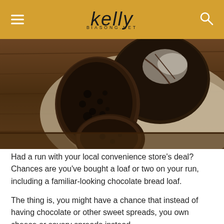kelly BIASONG.NET
[Figure (photo): Photo of dark/chocolate sourdough bread loaves sliced on a rustic wooden board with linen cloth backdrop]
Had a run with your local convenience store's deal? Chances are you've bought a loaf or two on your run, including a familiar-looking chocolate bread loaf.
The thing is, you might have a chance that instead of having chocolate or other sweet spreads, you own cheese or savory spreads instead.
You might think that you're left bare, bored with loaves of